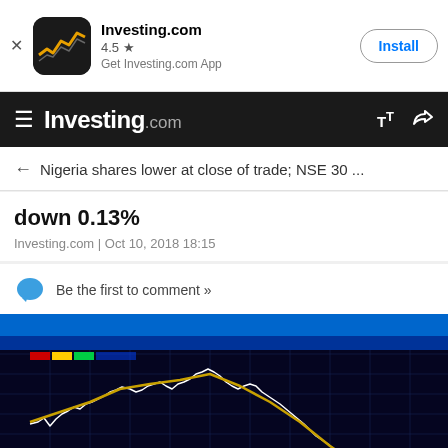[Figure (screenshot): Investing.com app install banner with logo icon, rating 4.5 stars, and Install button]
Investing.com
Nigeria shares lower at close of trade; NSE 30 … down 0.13%
Investing.com | Oct 10, 2018 18:15
Be the first to comment »
[Figure (photo): Person viewing a stock market trading chart on a computer screen showing a declining price curve against a dark blue gridded background]